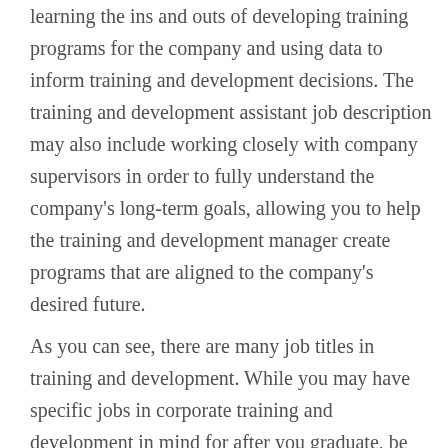learning the ins and outs of developing training programs for the company and using data to inform training and development decisions. The training and development assistant job description may also include working closely with company supervisors in order to fully understand the company's long-term goals, allowing you to help the training and development manager create programs that are aligned to the company's desired future.
As you can see, there are many job titles in training and development. While you may have specific jobs in corporate training and development in mind for after you graduate, be sure that you don't base your decision on whether or not to pursue a job on the job title alone. Different titles mean different things to different